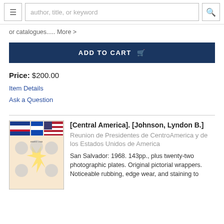≡  author, title, or keyword  🔍
or catalogues..... More >
ADD TO CART 🛒
Price: $200.00
Item Details
Ask a Question
[Figure (photo): Book cover showing flags of Central America and United States with portraits of presidents]
[Central America]. [Johnson, Lyndon B.] Reunion de Presidentes de CentroAmerica y de los Estados Unidos de America
San Salvador: 1968. 143pp., plus twenty-two photographic plates. Original pictorial wrappers. Noticeable rubbing, edge wear, and staining to